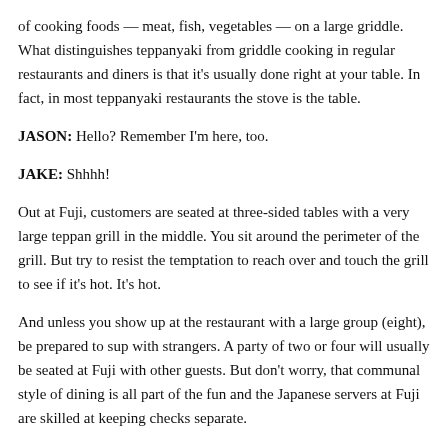of cooking foods — meat, fish, vegetables — on a large griddle. What distinguishes teppanyaki from griddle cooking in regular restaurants and diners is that it's usually done right at your table. In fact, in most teppanyaki restaurants the stove is the table.
JASON: Hello? Remember I'm here, too.
JAKE: Shhhh!
Out at Fuji, customers are seated at three-sided tables with a very large teppan grill in the middle. You sit around the perimeter of the grill. But try to resist the temptation to reach over and touch the grill to see if it's hot. It's hot.
And unless you show up at the restaurant with a large group (eight), be prepared to sup with strangers. A party of two or four will usually be seated at Fuji with other guests. But don't worry, that communal style of dining is all part of the fun and the Japanese servers at Fuji are skilled at keeping checks separate.
JASON: Fuji has its up and downs.  On the less than friendly side, our server never brought the drink orders right — or, more to the point, at all. I ordered a